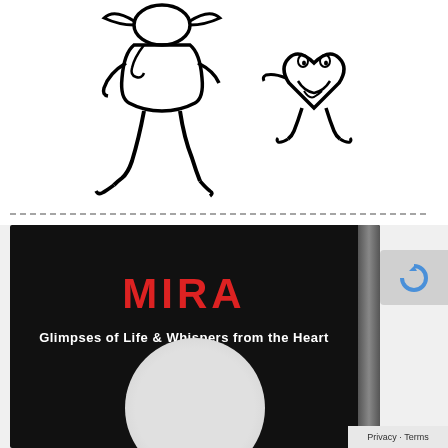[Figure (illustration): Black and white line drawing of a doctor/nurse figure with stethoscope walking, and a cartoon heart character with a face and limbs, both on white background]
[Figure (photo): Photo of a book cover with black background, red bold text reading 'MIRA' and white subtitle text 'Glimpses of Life & Whispers from the Heart', with a circular moon-like image at the bottom]